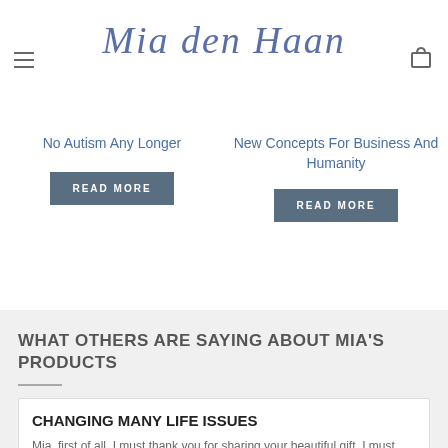Mia den Haan
No Autism Any Longer
READ MORE
New Concepts For Business And Humanity
READ MORE
WHAT OTHERS ARE SAYING ABOUT MIA'S PRODUCTS
CHANGING MANY LIFE ISSUES
Mia, first of all, I must thank you for sharing your beautiful gift. I must thank you and be grateful for your amazing...